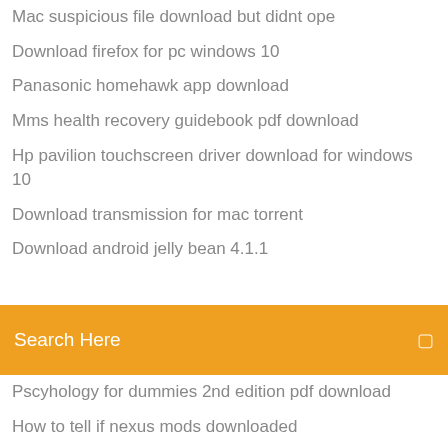Mac suspicious file download but didnt ope
Download firefox for pc windows 10
Panasonic homehawk app download
Mms health recovery guidebook pdf download
Hp pavilion touchscreen driver download for windows 10
Download transmission for mac torrent
Download android jelly bean 4.1.1
Search Here
Pscyhology for dummies 2nd edition pdf download
How to tell if nexus mods downloaded
Norf norf clean version download
Download goat simulator payday apk
Twice knock knock mp4 free download
Download pof real app for my pc
Ps4 download old saved game data
App store requring password to download app
2019 terraria android free download
Download old version software ibm spss